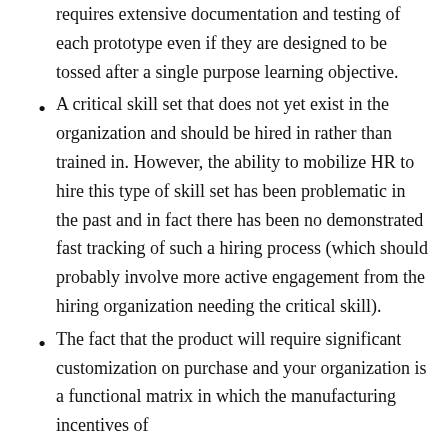requires extensive documentation and testing of each prototype even if they are designed to be tossed after a single purpose learning objective.
A critical skill set that does not yet exist in the organization and should be hired in rather than trained in. However, the ability to mobilize HR to hire this type of skill set has been problematic in the past and in fact there has been no demonstrated fast tracking of such a hiring process (which should probably involve more active engagement from the hiring organization needing the critical skill).
The fact that the product will require significant customization on purchase and your organization is a functional matrix in which the manufacturing incentives of